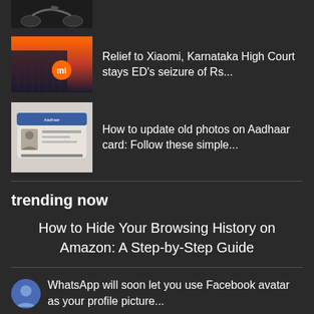[Figure (photo): Partial thumbnail of a scooter/motorcycle at top]
[Figure (photo): Thumbnail of Xiaomi building with orange logo]
Relief to Xiaomi, Karnataka High Court stays ED's seizure of Rs...
[Figure (photo): Thumbnail of Aadhaar card]
How to update old photos on Aadhaar card: Follow these simple...
trending now
How to Hide Your Browsing History on Amazon: A Step-by-Step Guide
[Figure (photo): Blue circular avatar/profile icon]
WhatsApp will soon let you use Facebook avatar as your profile picture...